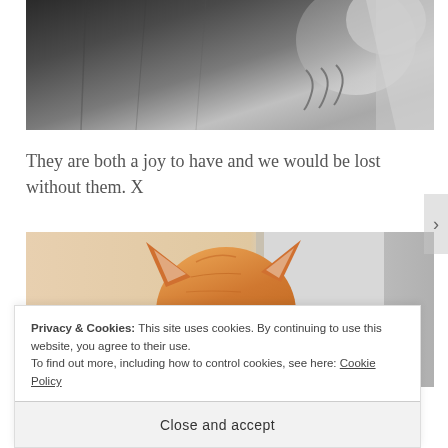[Figure (photo): Black and white photo of a cat's claws/paws scratching or gripping a surface, close-up view]
They are both a joy to have and we would be lost without them. X
[Figure (photo): Color photo of an orange/ginger cat seen from behind, showing the top of its head and ears, looking toward a door or wall]
Privacy & Cookies: This site uses cookies. By continuing to use this website, you agree to their use.
To find out more, including how to control cookies, see here: Cookie Policy
Close and accept